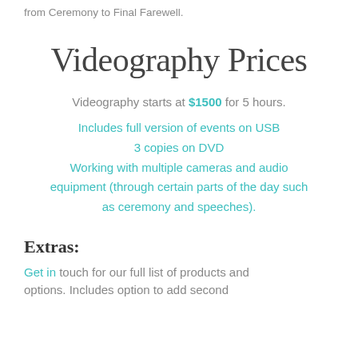from Ceremony to Final Farewell.
Videography Prices
Videography starts at $1500 for 5 hours.
Includes full version of events on USB
3 copies on DVD
Working with multiple cameras and audio equipment (through certain parts of the day such as ceremony and speeches).
Extras:
Get in touch for our full list of products and options. Includes option to add second